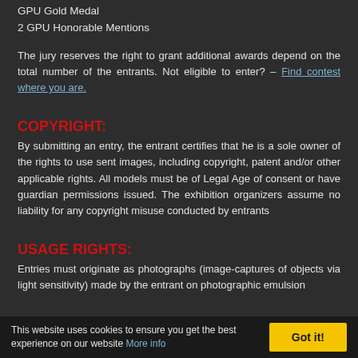GPU Gold Medal
2 GPU Honorable Mentions
The jury reserves the right to grant additional awards depend on the total number of the entrants. Not eligible to enter? – Find contest where you are.
COPYRIGHT:
By submitting an entry, the entrant certifies that he is a sole owner of the rights to use sent images, including copyright, patent and/or other applicable rights. All models must be of Legal Age of consent or have guardian permissions issued. The exhibition organizers assume no liability for any copyright misuse conducted by entrants
USAGE RIGHTS:
Entries must originate as photographs (image-captures of objects via light sensitivity) made by the entrant on photographic emulsion
This website uses cookies to ensure you get the best experience on our website More info